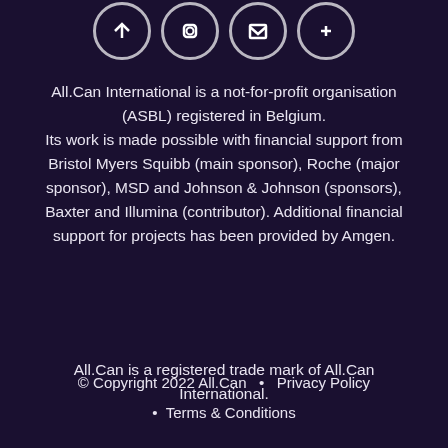[Figure (illustration): Four circular social media icon buttons with white outlines, partially cropped at the top of the page]
All.Can International is a not-for-profit organisation (ASBL) registered in Belgium. Its work is made possible with financial support from Bristol Myers Squibb (main sponsor), Roche (major sponsor), MSD and Johnson & Johnson (sponsors), Baxter and Illumina (contributor). Additional financial support for projects has been provided by Amgen.
All.Can is a registered trade mark of All.Can International.
© Copyright 2022 All.Can  •  Privacy Policy  •  Terms & Conditions